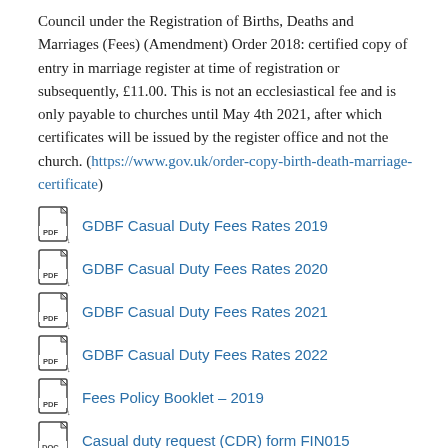Council under the Registration of Births, Deaths and Marriages (Fees) (Amendment) Order 2018: certified copy of entry in marriage register at time of registration or subsequently, £11.00. This is not an ecclesiastical fee and is only payable to churches until May 4th 2021, after which certificates will be issued by the register office and not the church. (https://www.gov.uk/order-copy-birth-death-marriage-certificate)
GDBF Casual Duty Fees Rates 2019
GDBF Casual Duty Fees Rates 2020
GDBF Casual Duty Fees Rates 2021
GDBF Casual Duty Fees Rates 2022
Fees Policy Booklet – 2019
Casual duty request (CDR) form FIN015
CDR claim form (FIN013)